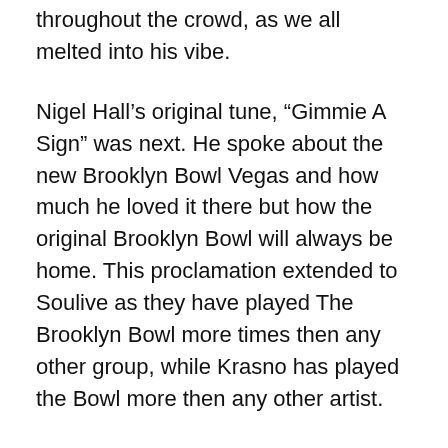throughout the crowd, as we all melted into his vibe.
Nigel Hall's original tune, “Gimmie A Sign” was next. He spoke about the new Brooklyn Bowl Vegas and how much he loved it there but how the original Brooklyn Bowl will always be home. This proclamation extended to Soulive as they have played The Brooklyn Bowl more times then any other group, while Krasno has played the Bowl more then any other artist.
When The Root’s drummer, Questlove, walked on stage for “Layaway,” Nigel’s latest musical creation, the audience went wild. Alan Evans moved to vocals while Questlove added his signature groove to the song. Questlove has a standing DJ gig every Thursday at the Brooklyn Bowl. If you are ever in the area, bring your dancing shoes because his long-standing set is one of the hottest dance